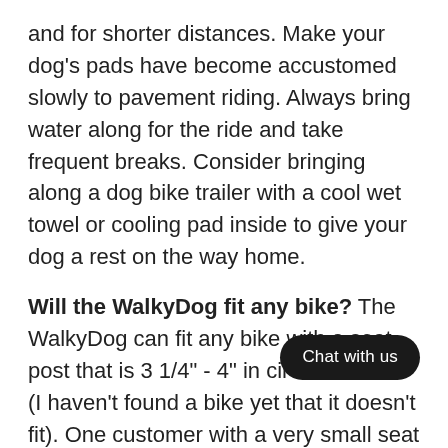and for shorter distances. Make your dog's pads have become accustomed slowly to pavement riding. Always bring water along for the ride and take frequent breaks. Consider bringing along a dog bike trailer with a cool wet towel or cooling pad inside to give your dog a rest on the way home.
Will the WalkyDog fit any bike? The WalkyDog can fit any bike with a seat post that is 3 1/4" - 4" in circumference (I haven't found a bike yet that it doesn't fit). One customer with a very small seat post size under the range above told me that she went to a bike shop and had a bicycle seat post shim fitted to her bike to make it work perfectly for a very small price. Customers that over the size requirement seat post ha y made it work by using longer bolts that they picked